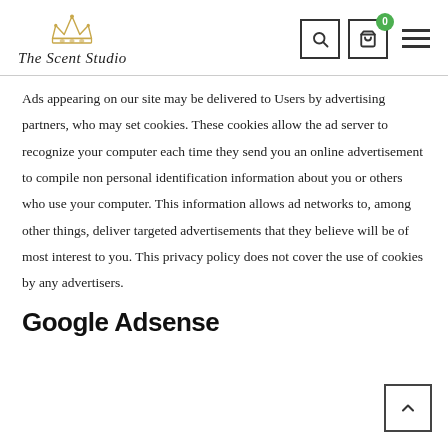The Scent Studio — site header with logo, search, cart, and menu icons
Ads appearing on our site may be delivered to Users by advertising partners, who may set cookies. These cookies allow the ad server to recognize your computer each time they send you an online advertisement to compile non personal identification information about you or others who use your computer. This information allows ad networks to, among other things, deliver targeted advertisements that they believe will be of most interest to you. This privacy policy does not cover the use of cookies by any advertisers.
Google Adsense